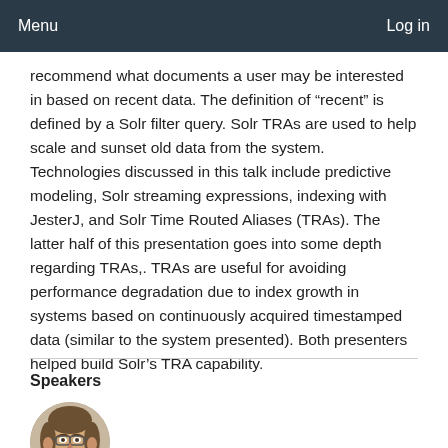Menu  Log in
recommend what documents a user may be interested in based on recent data. The definition of “recent” is defined by a Solr filter query. Solr TRAs are used to help scale and sunset old data from the system. Technologies discussed in this talk include predictive modeling, Solr streaming expressions, indexing with JesterJ, and Solr Time Routed Aliases (TRAs). The latter half of this presentation goes into some depth regarding TRAs,. TRAs are useful for avoiding performance degradation due to index growth in systems based on continuously acquired timestamped data (similar to the system presented). Both presenters helped build Solr’s TRA capability.
Speakers